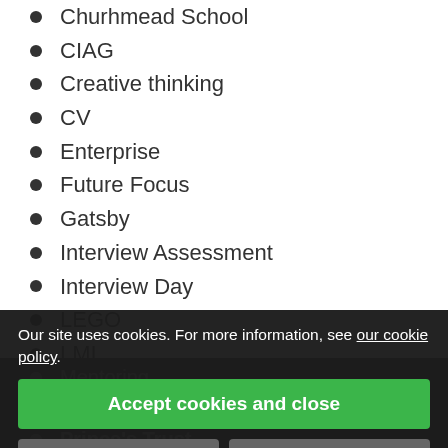Churhmead School
CIAG
Creative thinking
CV
Enterprise
Future Focus
Gatsby
Interview Assessment
Interview Day
LEGO
LMI
Mentoring
Networking
Prince's Trust
Qu…
Sec…
STEM
Tea…
Virtual Work Experience
Our site uses cookies. For more information, see our cookie policy.
Accept cookies and close
Reject cookies
Manage settings